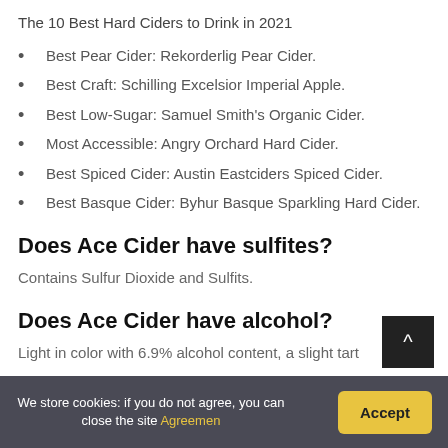The 10 Best Hard Ciders to Drink in 2021
Best Pear Cider: Rekorderlig Pear Cider.
Best Craft: Schilling Excelsior Imperial Apple.
Best Low-Sugar: Samuel Smith's Organic Cider.
Most Accessible: Angry Orchard Hard Cider.
Best Spiced Cider: Austin Eastciders Spiced Cider.
Best Basque Cider: Byhur Basque Sparkling Hard Cider.
Does Ace Cider have sulfites?
Contains Sulfur Dioxide and Sulfits.
Does Ace Cider have alcohol?
Light in color with 6.9% alcohol content, a slight tart